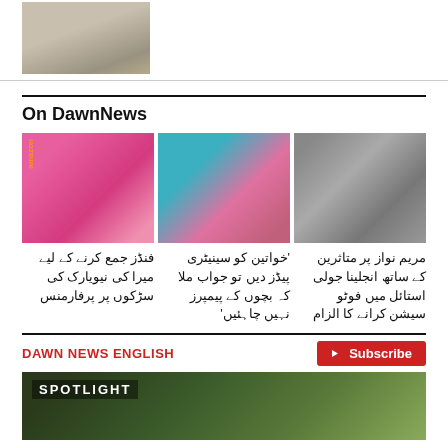[Figure (photo): Small thumbnail photo of a person outdoors in a sandy/arid environment]
On DawnNews
[Figure (photo): Three news thumbnail images side by side: (1) woman in pink bridal outfit near Amazon logo, (2) woman in colorful headscarf crying or distressed, (3) Angelina Jolie with a woman in black hijab]
فنڈز جمع کرنے کے لیے میرا کی نیویارک کی سڑکوں پر پرفارمنس
'خواتین کو سینیٹری پیڈز دیں تو جواب ملا کہ بچوں کے پیمپرز نہیں چاہئیں'
مریم نواز پر متاثرین کے ساتھ انجلینا جولی استائل میں فوٹو سیشن کرانے کا الزام
DAWN NEWS ENGLISH
[Figure (screenshot): Video thumbnail showing 'SPOTLIGHT' text overlay on outdoor scene with trees]